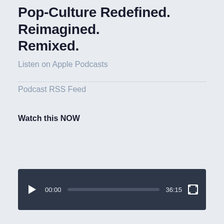Pop-Culture Redefined. Reimagined. Remixed.
Listen on Apple Podcasts
Podcast RSS Feed
Watch this NOW
[Figure (other): Video player UI with play button, timecode 00:00, progress bar, duration 36:15, and fullscreen button on dark background]